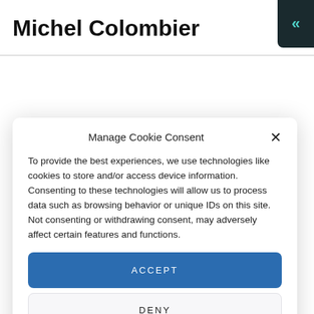Michel Colombier
Manage Cookie Consent
To provide the best experiences, we use technologies like cookies to store and/or access device information. Consenting to these technologies will allow us to process data such as browsing behavior or unique IDs on this site. Not consenting or withdrawing consent, may adversely affect certain features and functions.
ACCEPT
DENY
VIEW PREFERENCES
Cookie Policy  Privacy Policy  Privacy Policy